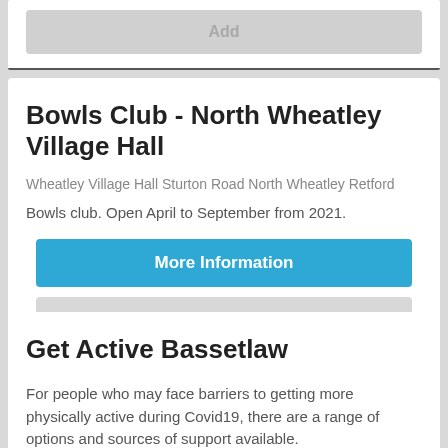Add
Bowls Club - North Wheatley Village Hall
Wheatley Village Hall Sturton Road North Wheatley Retford
Bowls club. Open April to September from 2021.
More Information
Add
Get Active Bassetlaw
For people who may face barriers to getting more physically active during Covid19, there are a range of options and sources of support available.